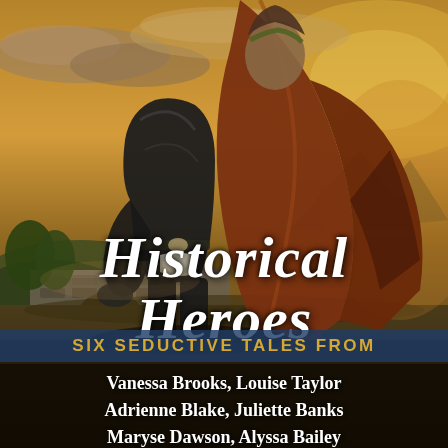[Figure (illustration): Book cover image showing a historical scene: a figure in dark armor and a woman in a brown cloak embracing, with a stone bridge and golden-hour landscape in the background]
Historical Heroes
SIX SEDUCTIVE TALES FROM
Vanessa Brooks, Louise Taylor
Adrienne Blake, Juliette Banks
Maryse Dawson, Alyssa Bailey